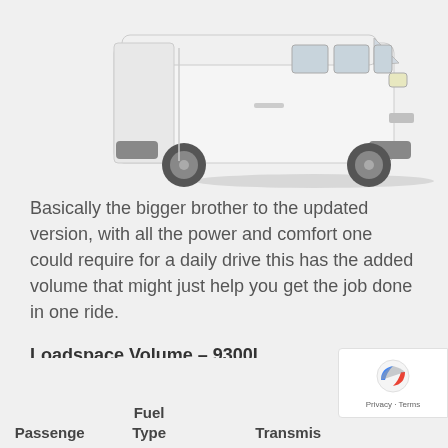[Figure (photo): White Toyota HiAce van photographed from a front three-quarter angle against a light grey background]
Basically the bigger brother to the updated version, with all the power and comfort one could require for a daily drive this has the added volume that might just help you get the job done in one ride.
Loadspace Volume – 9300L
Passenge
Fuel Type
Transmis